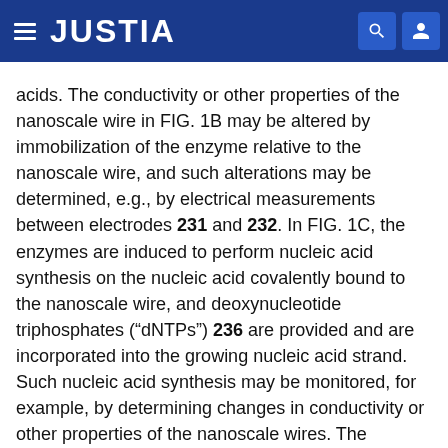JUSTIA
acids. The conductivity or other properties of the nanoscale wire in FIG. 1B may be altered by immobilization of the enzyme relative to the nanoscale wire, and such alterations may be determined, e.g., by electrical measurements between electrodes 231 and 232. In FIG. 1C, the enzymes are induced to perform nucleic acid synthesis on the nucleic acid covalently bound to the nanoscale wire, and deoxynucleotide triphosphates (“dNTPs”) 236 are provided and are incorporated into the growing nucleic acid strand. Such nucleic acid synthesis may be monitored, for example, by determining changes in conductivity or other properties of the nanoscale wires. The enzymes may also be removed from the nanoscale wire.
It should be noted that direct covalent bonding of the nucleic acid reaction entity to the nanoscale wire is not